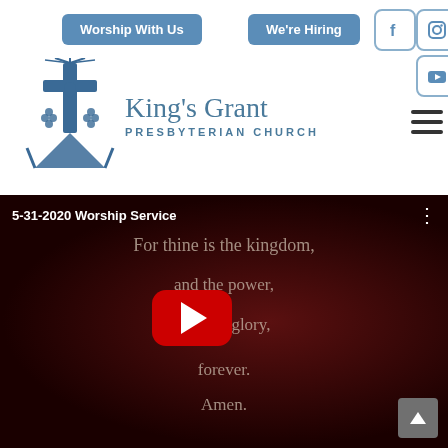Worship With Us | We're Hiring
[Figure (logo): King's Grant Presbyterian Church logo with decorative cross and grape/vine motifs in blue]
King's Grant PRESBYTERIAN CHURCH
[Figure (screenshot): YouTube video embed thumbnail for '5-31-2020 Worship Service' showing prayer text: For thine is the kingdom, and the power, and the glory, forever. Amen.]